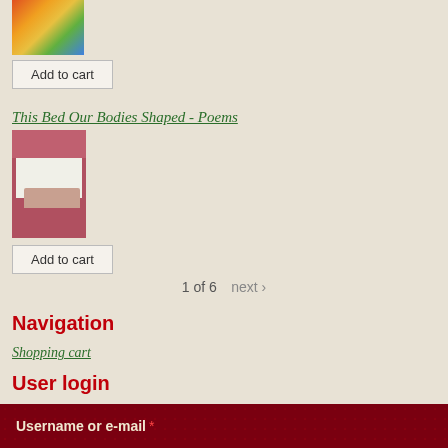[Figure (photo): Book cover with colorful abstract art in red, orange, yellow, green, and blue tones]
Add to cart
This Bed Our Bodies Shaped - Poems
[Figure (photo): Book cover for 'This Bed Our Bodies Shaped - Poems' with a dusty rose/mauve color and a bed scene in the center]
Add to cart
1 of 6    next ›
Navigation
Shopping cart
User login
Username or e-mail *